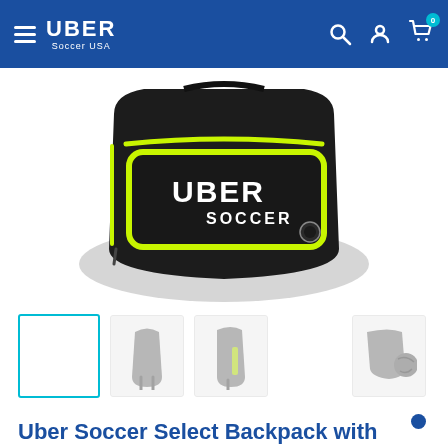UBER Soccer USA — navigation header with hamburger menu, search, account, and cart icons (0 items)
[Figure (photo): Close-up front view of a black Uber Soccer backpack with neon yellow-green zipper accents and 'UBER SOCCER' branding on the front pocket, along with a small ball holder attachment on the right side.]
[Figure (photo): Thumbnail row showing: (1) active/selected white thumbnail with teal border, (2) back view of backpack in gray, (3) side view of backpack with yellow-green accent in gray, (4) backpack with ball holder view in gray.]
Uber Soccer Select Backpack with